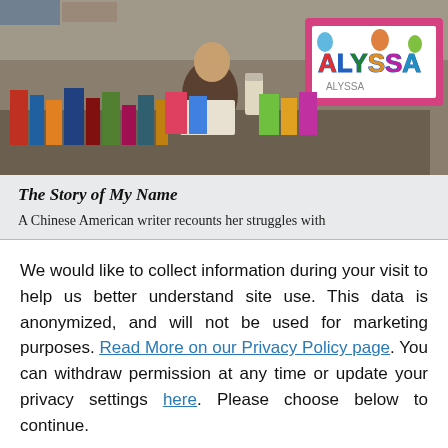[Figure (photo): Photo of a street vendor scene with a person reading at a table of books/artwork; a colorful sign reading 'ALYSSA' is visible on the right side]
The Story of My Name
A Chinese American writer recounts her struggles with
We would like to collect information during your visit to help us better understand site use. This data is anonymized, and will not be used for marketing purposes. Read More on our Privacy Policy page. You can withdraw permission at any time or update your privacy settings here. Please choose below to continue.
Yes, I agree
No, Please do not